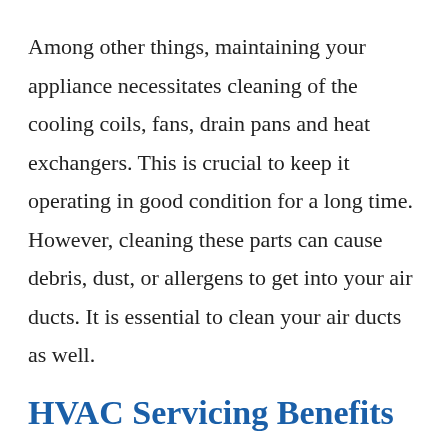Among other things, maintaining your appliance necessitates cleaning of the cooling coils, fans, drain pans and heat exchangers. This is crucial to keep it operating in good condition for a long time. However, cleaning these parts can cause debris, dust, or allergens to get into your air ducts. It is essential to clean your air ducts as well.
HVAC Servicing Benefits
Savings: Experts say that eliminating dust from your air conditioner will